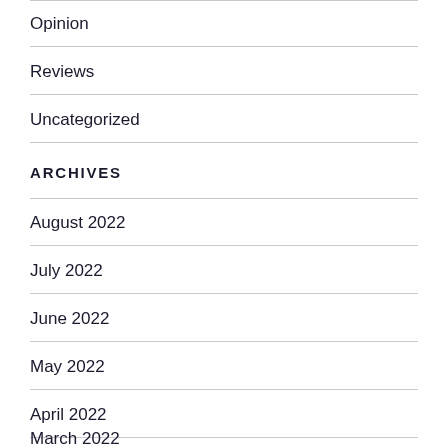Opinion
Reviews
Uncategorized
ARCHIVES
August 2022
July 2022
June 2022
May 2022
April 2022
March 2022